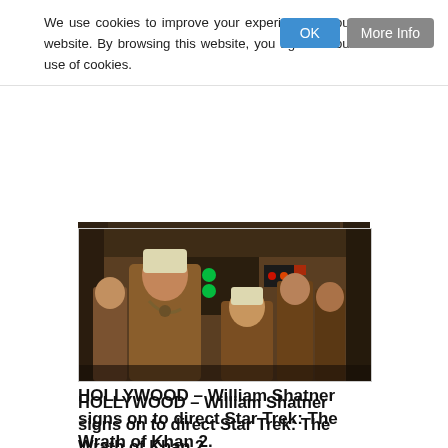We use cookies to improve your experience on our website. By browsing this website, you agree to our use of cookies.
[Figure (photo): A scene from Star Trek II: The Wrath of Khan showing Ricardo Montalban as Khan with his crew in brown tribal/warrior costumes on a spaceship bridge with green lights on control panels.]
HOLLYWOOD – William Shatner signs on to direct Star Trek: The Wrath of Khan 2.
William Shatner is going to direct a sequel to his 1982 hit The Wrath of Khan. He spoke to